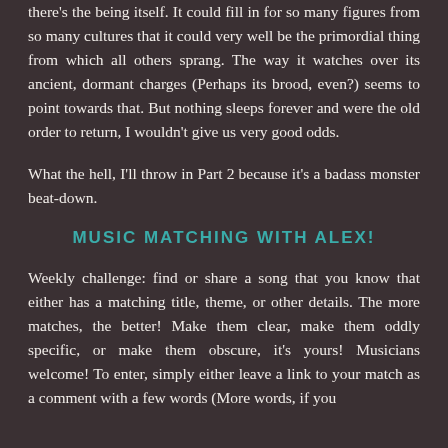there's the being itself. It could fill in for so many figures from so many cultures that it could very well be the primordial thing from which all others sprang. The way it watches over its ancient, dormant charges (Perhaps its brood, even?) seems to point towards that. But nothing sleeps forever and were the old order to return, I wouldn't give us very good odds.
What the hell, I'll throw in Part 2 because it's a badass monster beat-down.
MUSIC MATCHING WITH ALEX!
Weekly challenge: find or share a song that you know that either has a matching title, theme, or other details. The more matches, the better! Make them clear, make them oddly specific, or make them obscure, it's yours! Musicians welcome! To enter, simply either leave a link to your match as a comment with a few words (More words, if you